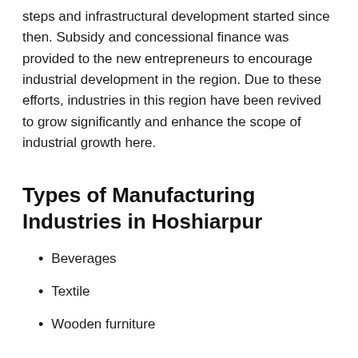steps and infrastructural development started since then. Subsidy and concessional finance was provided to the new entrepreneurs to encourage industrial development in the region. Due to these efforts, industries in this region have been revived to grow significantly and enhance the scope of industrial growth here.
Types of Manufacturing Industries in Hoshiarpur
Beverages
Textile
Wooden furniture